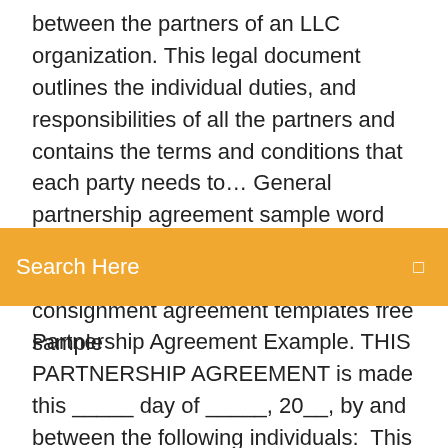between the partners of an LLC organization. This legal document outlines the individual duties, and responsibilities of all the partners and contains the terms and conditions that each party needs to… General partnership agreement sample word pdf templates creative simple partnership agreement template, consignment agreement templates free sample
Search Here
Partnership Agreement Example. THIS PARTNERSHIP AGREEMENT is made this _____ day of _____, 20__, by and between the following individuals:  This guide discusses the importance of a partnership agreement, its essential components, as well um.dk. Details. File Format. PDF. Size: 113 KB. Download  If the Partnership survives, the remaining Partner(s) will pay, within a reasonable time, the departing Partner, or the deceased Partner's estate, the fair market  You